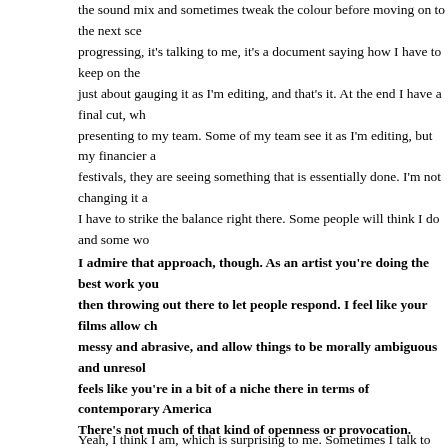the sound mix and sometimes tweak the colour before moving on to the next scene progressing, it's talking to me, it's a document saying how I have to keep on the just about gauging it as I'm editing, and that's it. At the end I have a final cut, wh presenting to my team. Some of my team see it as I'm editing, but my financier a festivals, they are seeing something that is essentially done. I'm not changing it a I have to strike the balance right there. Some people will think I do and some wo
I admire that approach, though. As an artist you're doing the best work you then throwing out there to let people respond. I feel like your films allow ch messy and abrasive, and allow things to be morally ambiguous and unresol feels like you're in a bit of a niche there in terms of contemporary America There's not much of that kind of openness or provocation.
Yeah, I think I am, which is surprising to me. Sometimes I talk to filmmakers am to a test screening, and I'm like – What? Why? What do you do? I don't understa making a film like a Marvel film, where big box office is the most important thi screenings are there to knock out the extremities. If somebody is extremely turne one moment, or they hate the ending, or they don't want this character to be in th going to remove those things in order to make the film more sellable to the lowe denominator. That's not what I'm trying to do. I'm trying to make a film that I'm where I feel like I've communicated what I want to communicate, and too bad if it. That's why I'm working on a budget. I don't believe in test screenings, I actua handful people on my team seeing the film before I put it out there, and I'm not s polarising films because those are the films that I love. I look at my top 10 and I any of them have been nominated for an Academy Award, and they are probably